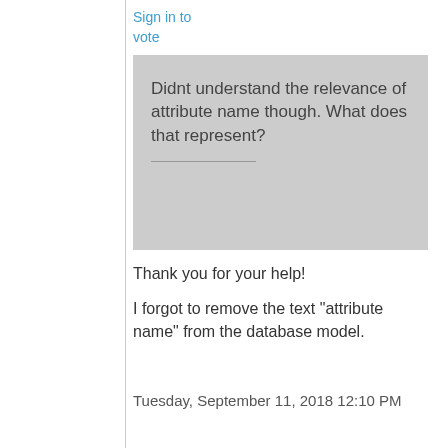Sign in to vote
[Figure (screenshot): A grey comment/quote box containing the text: 'Didnt understand the relevance of attribute name though. What does that represent?' followed by a horizontal divider line.]
Thank you for your help!
I forgot to remove the text "attribute name" from the database model.
Tuesday, September 11, 2018 12:10 PM